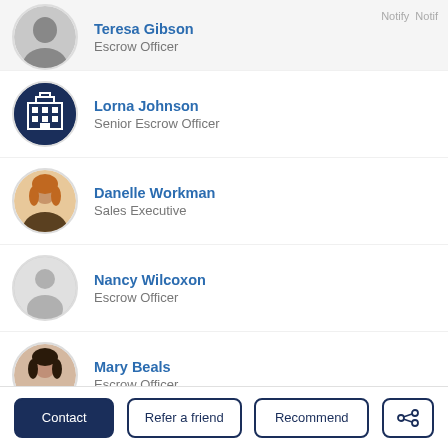Teresa Gibson — Escrow Officer
Lorna Johnson — Senior Escrow Officer
Danelle Workman — Sales Executive
Nancy Wilcoxon — Escrow Officer
Mary Beals — Escrow Officer
Kim Meidinger — Branch Manager / Escrow Officer
Contact | Refer a friend | Recommend | Share